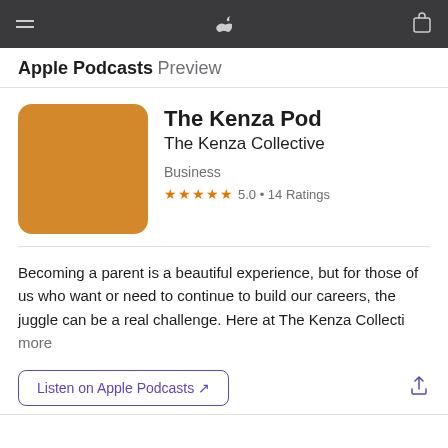Apple Podcasts Preview
The Kenza Pod
The Kenza Collective
Business
★★★★★ 5.0 • 14 Ratings
Becoming a parent is a beautiful experience, but for those of us who want or need to continue to build our careers, the juggle can be a real challenge. Here at The Kenza Collecti more
Listen on Apple Podcasts ↗